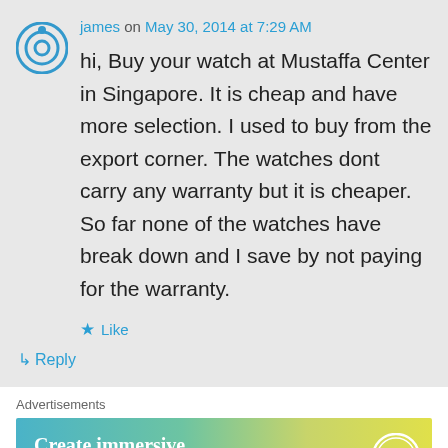james on May 30, 2014 at 7:29 AM
hi, Buy your watch at Mustaffa Center in Singapore. It is cheap and have more selection. I used to buy from the export corner. The watches dont carry any warranty but it is cheaper. So far none of the watches have break down and I save by not paying for the warranty.
Like
Reply
Advertisements
[Figure (other): WordPress advertisement banner reading 'Create immersive stories.' with 'GET THE APP' and WordPress logo on a blue-green-yellow gradient background.]